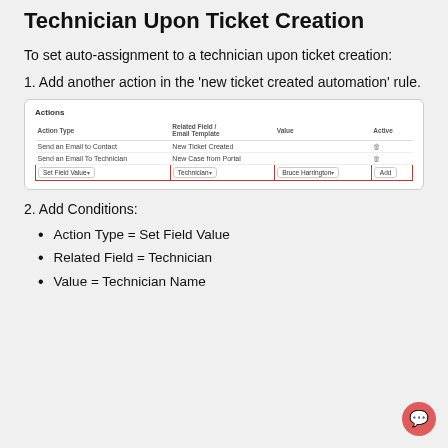Technician Upon Ticket Creation
To set auto-assignment to a technician upon ticket creation:
1. Add another action in the 'new ticket created automation' rule.
[Figure (screenshot): Screenshot of the Actions table showing rows: Send an Email to Contact / New Ticket Created, Send an Email To Technician / New Case from Portal, and a highlighted row with Set Field Value / Technician / Bruce Harrington / Add button.]
2. Add Conditions:
Action Type = Set Field Value
Related Field = Technician
Value = Technician Name